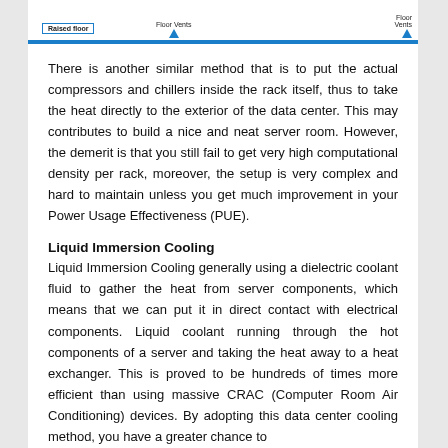[Figure (schematic): Partial top of diagram showing 'Raised floor', 'Floor Vents' label with upward arrow, and 'Floor Vents' label on right with upward arrow, blue horizontal bar/line at bottom.]
There is another similar method that is to put the actual compressors and chillers inside the rack itself, thus to take the heat directly to the exterior of the data center. This may contributes to build a nice and neat server room. However, the demerit is that you still fail to get very high computational density per rack, moreover, the setup is very complex and hard to maintain unless you get much improvement in your Power Usage Effectiveness (PUE).
Liquid Immersion Cooling
Liquid Immersion Cooling generally using a dielectric coolant fluid to gather the heat from server components, which means that we can put it in direct contact with electrical components. Liquid coolant running through the hot components of a server and taking the heat away to a heat exchanger. This is proved to be hundreds of times more efficient than using massive CRAC (Computer Room Air Conditioning) devices. By adopting this data center cooling method, you have a greater chance to